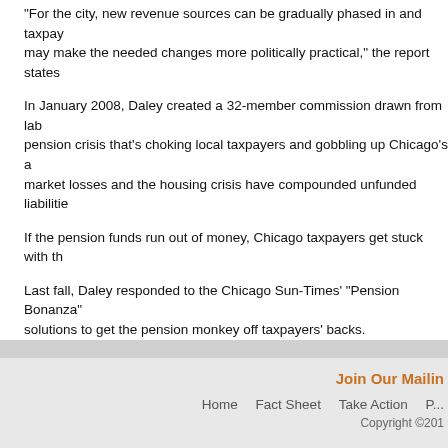"For the city, new revenue sources can be gradually phased in and taxpay... may make the needed changes more politically practical," the report states
In January 2008, Daley created a 32-member commission drawn from lab... pension crisis that's choking local taxpayers and gobbling up Chicago's a... market losses and the housing crisis have compounded unfunded liabilitie...
If the pension funds run out of money, Chicago taxpayers get stuck with th...
Last fall, Daley responded to the Chicago Sun-Times' "Pension Bonanza"... solutions to get the pension monkey off taxpayers' backs.
He cracked the door open to raising the retirement age from the current m... raising employee contributions and implementing a two-tiered pension sys...
Union leaders have long opposed a two-tier approach on grounds that it w... and-file members.
Join Our Mailin... Home   Fact Sheet   Take Action   P... Copyright ©201...